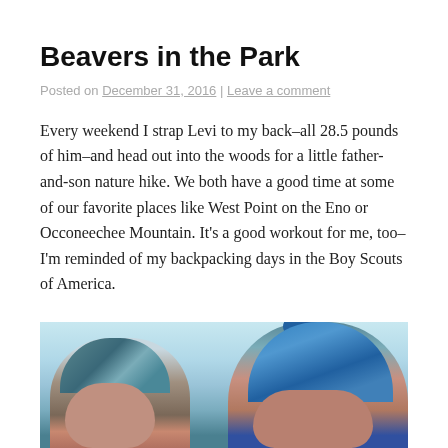Beavers in the Park
Posted on December 31, 2016 | Leave a comment
Every weekend I strap Levi to my back–all 28.5 pounds of him–and head out into the woods for a little father-and-son nature hike. We both have a good time at some of our favorite places like West Point on the Eno or Occoneechee Mountain. It's a good workout for me, too–I'm reminded of my backpacking days in the Boy Scouts of America.
[Figure (photo): Photo of a young child and adult man side by side outdoors in winter, both wearing knit hats. The child wears a striped teal/brown hat and the adult wears a blue hat. Light sky background.]